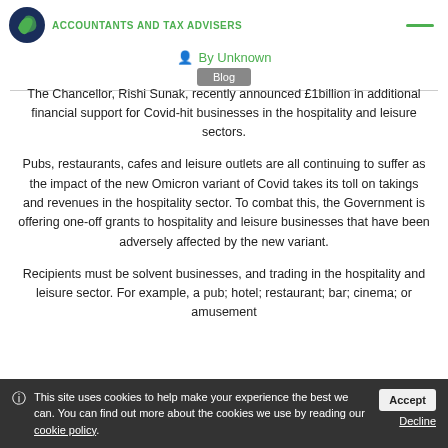ACCOUNTANTS AND TAX ADVISERS
By Unknown
Blog
The Chancellor, Rishi Sunak, recently announced £1billion in additional financial support for Covid-hit businesses in the hospitality and leisure sectors.
Pubs, restaurants, cafes and leisure outlets are all continuing to suffer as the impact of the new Omicron variant of Covid takes its toll on takings and revenues in the hospitality sector. To combat this, the Government is offering one-off grants to hospitality and leisure businesses that have been adversely affected by the new variant.
Recipients must be solvent businesses, and trading in the hospitality and leisure sector. For example, a pub; hotel; restaurant; bar; cinema; or amusement
This site uses cookies to help make your experience the best we can. You can find out more about the cookies we use by reading our cookie policy. Accept Decline